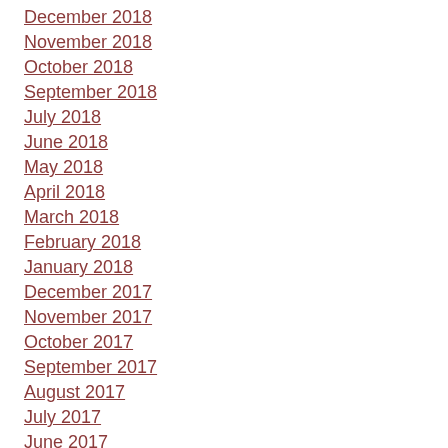December 2018
November 2018
October 2018
September 2018
July 2018
June 2018
May 2018
April 2018
March 2018
February 2018
January 2018
December 2017
November 2017
October 2017
September 2017
August 2017
July 2017
June 2017
May 2017